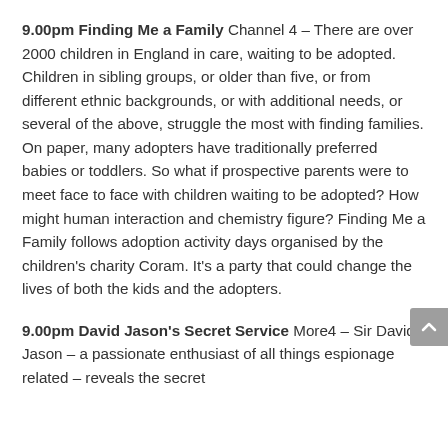9.00pm Finding Me a Family Channel 4 – There are over 2000 children in England in care, waiting to be adopted. Children in sibling groups, or older than five, or from different ethnic backgrounds, or with additional needs, or several of the above, struggle the most with finding families. On paper, many adopters have traditionally preferred babies or toddlers. So what if prospective parents were to meet face to face with children waiting to be adopted? How might human interaction and chemistry figure? Finding Me a Family follows adoption activity days organised by the children's charity Coram. It's a party that could change the lives of both the kids and the adopters.
9.00pm David Jason's Secret Service More4 – Sir David Jason – a passionate enthusiast of all things espionage related – reveals the secret